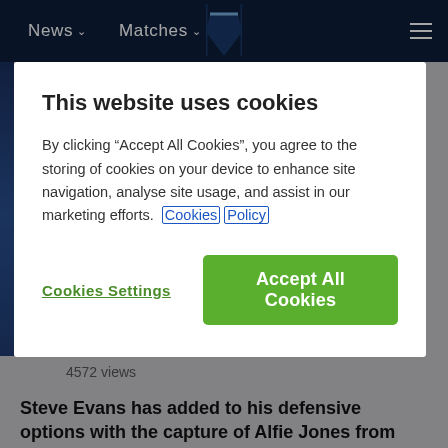News  Matches
This website uses cookies
By clicking “Accept All Cookies”, you agree to the storing of cookies on your device to enhance site navigation, analyse site usage, and assist in our marketing efforts. Cookies Policy
Cookies Settings
Accept All Cookies
4572 views
Steve Evans has added to his defensive options with the capture of Alfie Jones from Southampton.
Gillingham have signed centre-back Alfie Jones on a season long loan from Premier League side